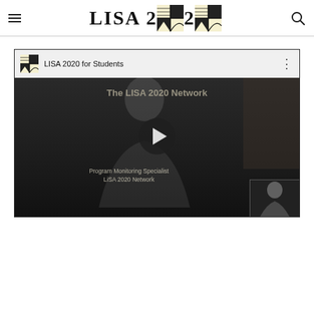LISA 2020
[Figure (screenshot): YouTube embedded video thumbnail showing 'LISA 2020 for Students' with title 'The LISA 2020 Network', a play button overlay, text 'Program Monitoring Specialist LiSA 2020 Network', and a small inset thumbnail in the bottom-right corner showing a person.]